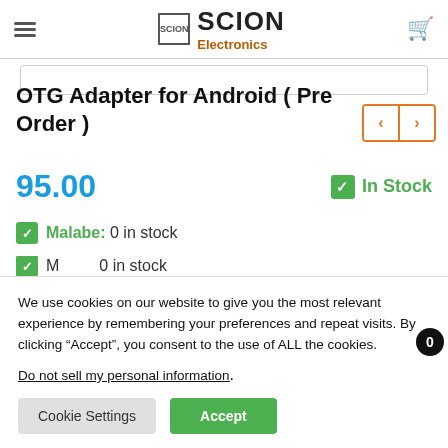SCION Electronics
OTG Adapter for Android ( Pre Order )
95.00
In Stock
Malabe: 0 in stock
We use cookies on our website to give you the most relevant experience by remembering your preferences and repeat visits. By clicking “Accept”, you consent to the use of ALL the cookies.
Do not sell my personal information.
Cookie Settings
Accept